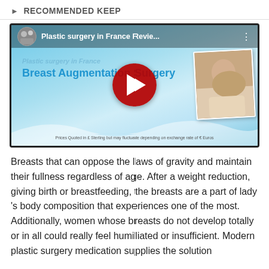▶ RECOMMENDED KEEP
[Figure (screenshot): YouTube video thumbnail for 'Plastic surgery in France Revie...' showing 'Breast Augmentation Surgery' text with a play button and a woman photo on the right. Price note at bottom: 'Prices Quoted in £ Sterling but may fluctuate depending on exchange rate of € Euros']
Breasts that can oppose the laws of gravity and maintain their fullness regardless of age. After a weight reduction, giving birth or breastfeeding, the breasts are a part of lady 's body composition that experiences one of the most. Additionally, women whose breasts do not develop totally or in all could really feel humiliated or insufficient. Modern plastic surgery medication supplies the solution